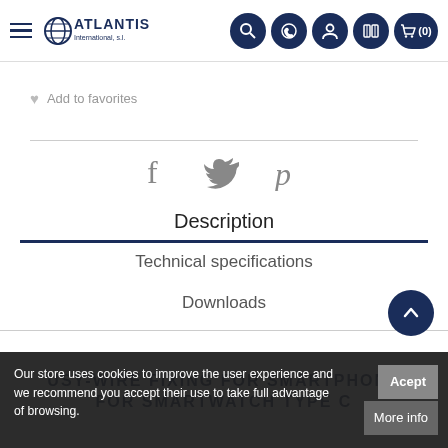Atlantis International navigation bar with hamburger menu, logo, search, phone, user, catalog, and cart (0) icons
Add to favorites
[Figure (other): Social sharing icons: Facebook (f), Twitter (bird), Pinterest (p)]
Description
Technical specifications
Downloads
USY-WIRE FIXING FOR SMARTPHONE FOR SMARTWATCH TYPE C
Our store uses cookies to improve the user experience and we recommend you accept their use to take full advantage of browsing.